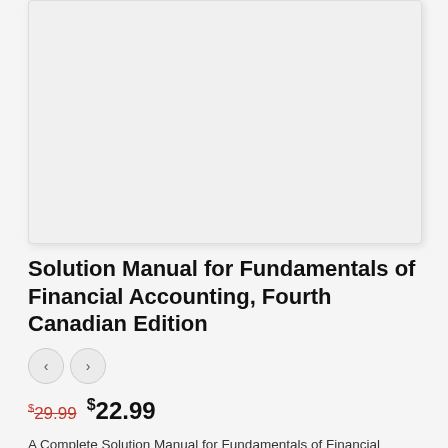[Figure (other): Book cover image placeholder — light gray rectangle with shadow, no visible text]
Solution Manual for Fundamentals of Financial Accounting, Fourth Canadian Edition
$29.99  $22.99
A Complete Solution Manual for Fundamentals of Financial